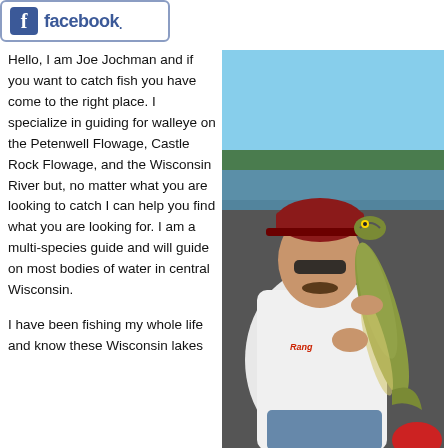[Figure (logo): Facebook logo button with blue 'f' icon and 'facebook.' text in blue]
Hello, I am Joe Jochman and if you want to catch fish you have come to the right place. I specialize in guiding for walleye on the Petenwell Flowage, Castle Rock Flowage, and the Wisconsin River but, no matter what you are looking to catch I can help you find what you are looking for. I am a multi-species guide and will guide on most bodies of water in central Wisconsin.
I have been fishing my whole life and know these Wisconsin lakes
[Figure (photo): Man wearing a white long-sleeve shirt and red cap with sunglasses, holding a large walleye fish while on a boat on a lake in central Wisconsin]